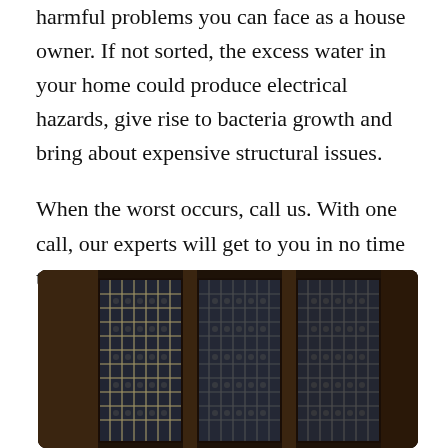harmful problems you can face as a house owner. If not sorted, the excess water in your home could produce electrical hazards, give rise to bacteria growth and bring about expensive structural issues.
When the worst occurs, call us. With one call, our experts will get to you in no time to offer the best solutions on the market.
[Figure (photo): Dark interior photograph showing ornate window panels with decorative lattice/grille work, lit from behind, with dark wooden surrounds, in a dimly lit room]